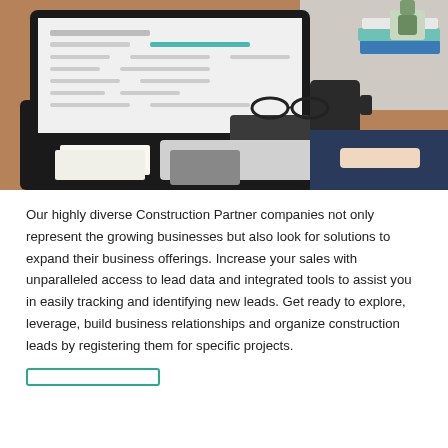[Figure (photo): A businessman in a suit typing on a keyboard at a desk with a large computer monitor showing a form/spreadsheet, coffee mug, calculator, glasses, wallet, notebooks, stacked books and potted cacti in the background.]
Our highly diverse Construction Partner companies not only represent the growing businesses but also look for solutions to expand their business offerings. Increase your sales with unparalleled access to lead data and integrated tools to assist you in easily tracking and identifying new leads. Get ready to explore, leverage, build business relationships and organize construction leads by registering them for specific projects.